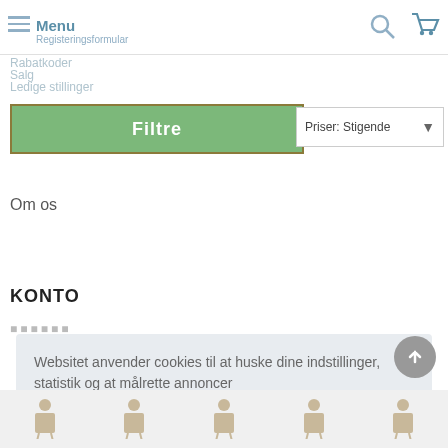Betingelser & Vilkar / Registreringsformular
Menu
Rabatkoder
Ledige stillinger
Filtre
Priser: Stigende
Om os
KONTO
Websitet anvender cookies til at huske dine indstillinger, statistik og at målrette annoncer
Læs mere
Ok!